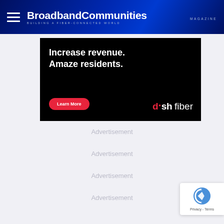BroadbandCommunities MAGAZINE — BUILDING A FIBER-CONNECTED WORLD
[Figure (illustration): DISH Fiber advertisement banner — black background with white bold text 'Increase revenue. Amaze residents.' and a red 'Learn More' button, plus the dish fiber logo in bottom right]
Advertisement
Advertisement
Advertisement
Advertisement
Advertisement
Advertisement
[Figure (logo): Google reCAPTCHA badge with Privacy and Terms links]